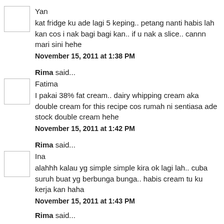Yan
kat fridge ku ade lagi 5 keping.. petang nanti habis lah kan cos i nak bagi bagi kan.. if u nak a slice.. cannn mari sini hehe
November 15, 2011 at 1:38 PM
Rima said...
Fatima
I pakai 38% fat cream.. dairy whipping cream aka double cream for this recipe cos rumah ni sentiasa ade stock double cream hehe
November 15, 2011 at 1:42 PM
Rima said...
Ina
alahhh kalau yg simple simple kira ok lagi lah.. cuba suruh buat yg berbunga bunga.. habis cream tu ku kerja kan haha
November 15, 2011 at 1:43 PM
Rima said...